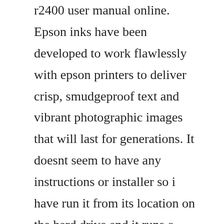r2400 user manual online. Epson inks have been developed to work flawlessly with epson printers to deliver crisp, smudgeproof text and vibrant photographic images that will last for generations. It doesnt seem to have any instructions or installer so i have run it from its location on the hard drive and it runs o.
Epson stylus photo r3000 printer drivers download for. Ive filled and installed the refillable cartridges for the r3000. The epson v600 is a reasonably priced scanner aimed at analog film shooters. To prevent inks from settling down on the bottom on some the ink